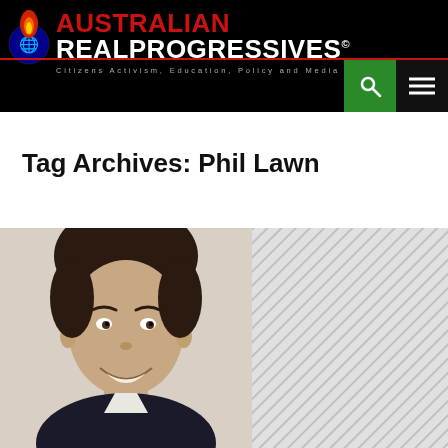Australian Real Progressives® — Citizens Activism, Education, Policy and Media
Tag Archives: Phil Lawn
[Figure (photo): Close-up photo of a man with dark hair, smiling, wearing a dark jacket, against a light stone wall background. Right portion of the image area shows a diagonal hatching pattern placeholder.]